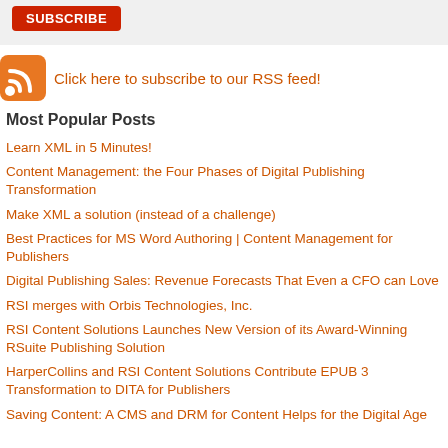[Figure (other): Red Subscribe button on grey background]
Click here to subscribe to our RSS feed!
Most Popular Posts
Learn XML in 5 Minutes!
Content Management: the Four Phases of Digital Publishing Transformation
Make XML a solution (instead of a challenge)
Best Practices for MS Word Authoring | Content Management for Publishers
Digital Publishing Sales: Revenue Forecasts That Even a CFO can Love
RSI merges with Orbis Technologies, Inc.
RSI Content Solutions Launches New Version of its Award-Winning RSuite Publishing Solution
HarperCollins and RSI Content Solutions Contribute EPUB 3 Transformation to DITA for Publishers
Saving Content: A CMS and DRM for Content Helps for the Digital Age